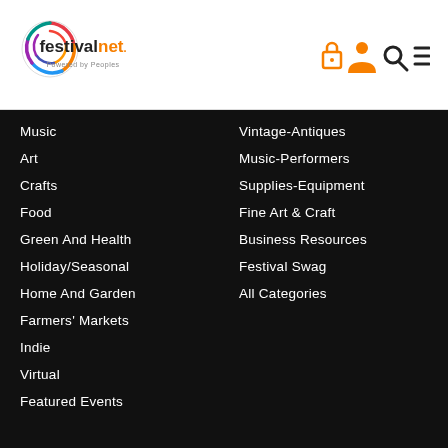[Figure (logo): FestivalNet logo with colorful circular swirl and text 'festivalnet. Powered by Peoples']
[Figure (infographic): Header icons: lock, user profile, search, hamburger menu in orange]
Music
Art
Crafts
Food
Green And Health
Holiday/Seasonal
Home And Garden
Farmers' Markets
Indie
Virtual
Featured Events
Vintage-Antiques
Music-Performers
Supplies-Equipment
Fine Art & Craft
Business Resources
Festival Swag
All Categories